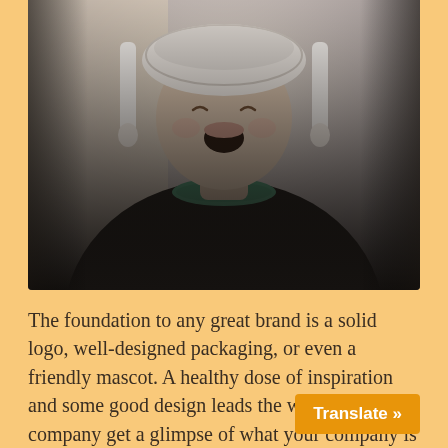[Figure (photo): A laughing woman wearing a dark fleece jacket with a colorful scarf and a white tasseled winter hat, photographed from the chest up against a blurred outdoor background]
The foundation to any great brand is a solid logo, well-designed packaging, or even a friendly mascot. A healthy dose of inspiration and some good design leads the way and lets the company get a glimpse of what your company is all about.